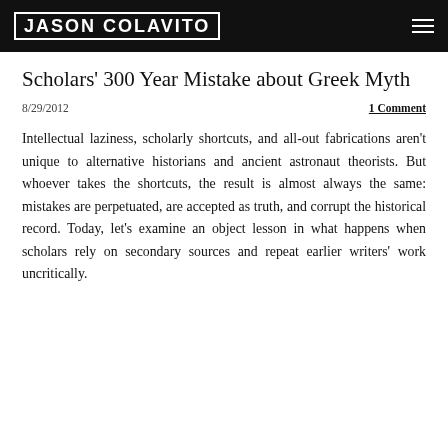JASON COLAVITO
Scholars' 300 Year Mistake about Greek Myth
8/29/2012
1 Comment
Intellectual laziness, scholarly shortcuts, and all-out fabrications aren't unique to alternative historians and ancient astronaut theorists. But whoever takes the shortcuts, the result is almost always the same: mistakes are perpetuated, are accepted as truth, and corrupt the historical record. Today, let's examine an object lesson in what happens when scholars rely on secondary sources and repeat earlier writers' work uncritically.